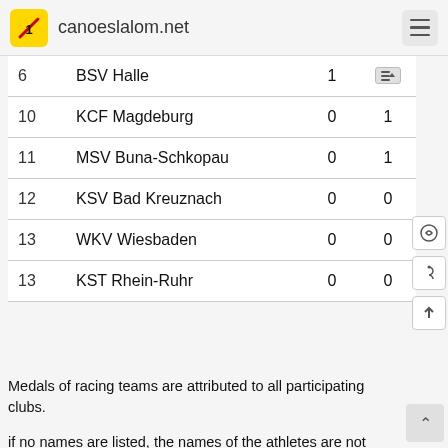canoeslalom.net
| # | Club | Col3 | Col4 |
| --- | --- | --- | --- |
| 6 | BSV Halle | 1 |  |
| 10 | KCF Magdeburg | 0 | 1 |
| 11 | MSV Buna-Schkopau | 0 | 1 |
| 12 | KSV Bad Kreuznach | 0 | 0 |
| 13 | WKV Wiesbaden | 0 | 0 |
| 13 | KST Rhein-Ruhr | 0 | 0 |
Medals of racing teams are attributed to all participating clubs.
if no names are listed, the names of the athletes are not mentioned in the result list and could not be determined subsequently
Ad (Amazon Partner Link)